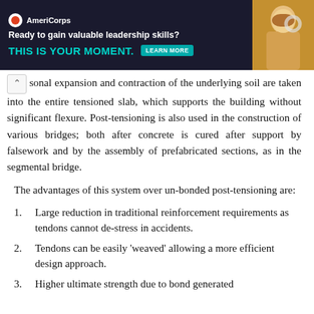[Figure (other): Advertisement banner: AmeriCorps logo and text 'Ready to gain valuable leadership skills? THIS IS YOUR MOMENT.' with a LEARN MORE button and a photo of people on the right side.]
sonal expansion and contraction of the underlying soil are taken into the entire tensioned slab, which supports the building without significant flexure. Post-tensioning is also used in the construction of various bridges; both after concrete is cured after support by falsework and by the assembly of prefabricated sections, as in the segmental bridge.
The advantages of this system over un-bonded post-tensioning are:
Large reduction in traditional reinforcement requirements as tendons cannot de-stress in accidents.
Tendons can be easily 'weaved' allowing a more efficient design approach.
Higher ultimate strength due to bond generated